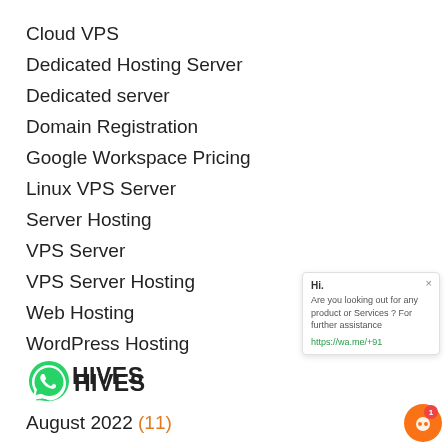Cloud VPS
Dedicated Hosting Server
Dedicated server
Domain Registration
Google Workspace Pricing
Linux VPS Server
Server Hosting
VPS Server
VPS Server Hosting
Web Hosting
WordPress Hosting
ARCHIVES
August 2022 (11)
Hi. Are you looking out for any product or Services ? For further assistance https://wa.me/+91